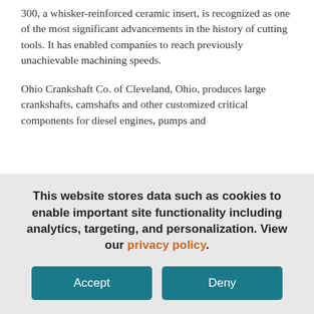300, a whisker-reinforced ceramic insert, is recognized as one of the most significant advancements in the history of cutting tools. It has enabled companies to reach previously unachievable machining speeds.
Ohio Crankshaft Co. of Cleveland, Ohio, produces large crankshafts, camshafts and other customized critical components for diesel engines, pumps and
This website stores data such as cookies to enable important site functionality including analytics, targeting, and personalization. View our privacy policy.